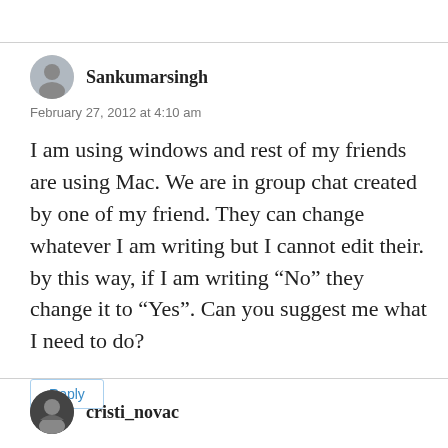Sankumarsingh
February 27, 2012 at 4:10 am
I am using windows and rest of my friends are using Mac. We are in group chat created by one of my friend. They can change whatever I am writing but I cannot edit their. by this way, if I am writing “No” they change it to “Yes”. Can you suggest me what I need to do?
Reply
cristi_novac